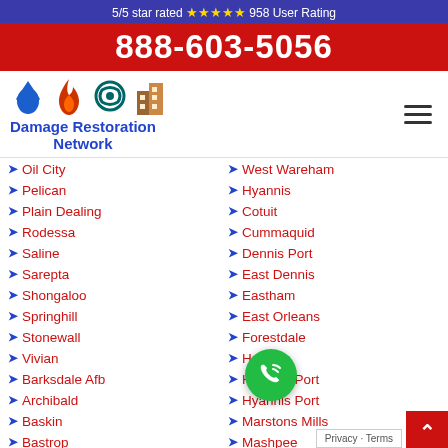5/5 star rated ★★★★★ 958 User Rating
888-603-5056
[Figure (logo): Damage Restoration Network logo with water drop, fire, hurricane, and building icons]
Oil City
West Wareham
Pelican
Hyannis
Plain Dealing
Cotuit
Rodessa
Cummaquid
Saline
Dennis Port
Sarepta
East Dennis
Shongaloo
Eastham
Springhill
East Orleans
Stonewall
Forestdale
Vivian
Harwich
Barksdale Afb
Harwich Port
Archibald
Hyannis Port
Baskin
Marstons Mills
Bastrop
Mashpee